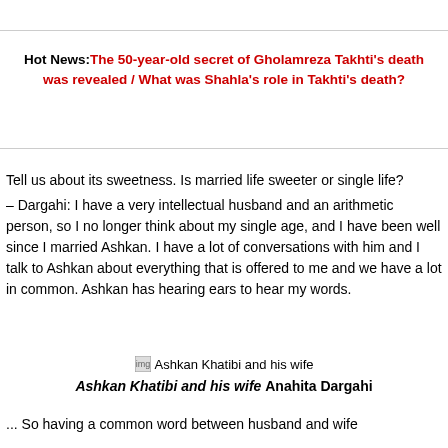Hot News: The 50-year-old secret of Gholamreza Takhti's death was revealed / What was Shahla's role in Takhti's death?
Tell us about its sweetness. Is married life sweeter or single life?
– Dargahi: I have a very intellectual husband and an arithmetic person, so I no longer think about my single age, and I have been well since I married Ashkan. I have a lot of conversations with him and I talk to Ashkan about everything that is offered to me and we have a lot in common. Ashkan has hearing ears to hear my words.
[Figure (photo): Image placeholder for Ashkan Khatibi and his wife]
Ashkan Khatibi and his wife Anahita Dargahi
... So having a common word between husband and wife